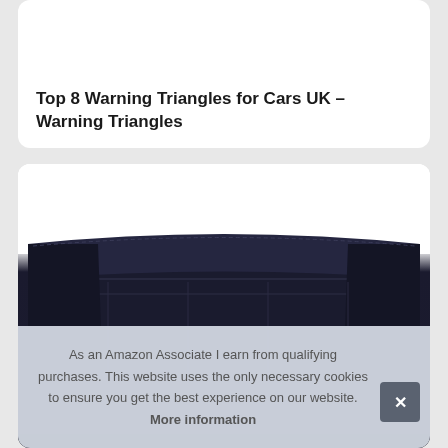Top 8 Warning Triangles for Cars UK – Warning Triangles
[Figure (photo): Dark navy/black folded carrying case or pouch for warning triangle product, photographed on white background]
As an Amazon Associate I earn from qualifying purchases. This website uses the only necessary cookies to ensure you get the best experience on our website. More information